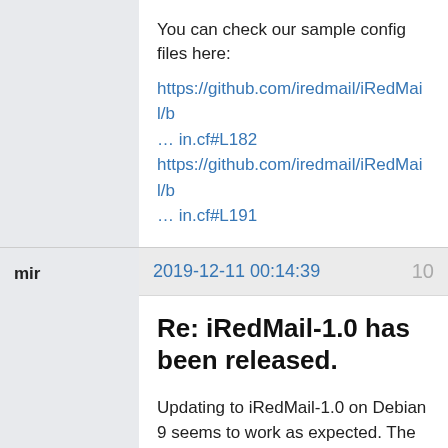You can check our sample config files here: https://github.com/iredmail/iRedMail/b… in.cf#L182 https://github.com/iredmail/iRedMail/b… in.cf#L191
mir
2019-12-11 00:14:39
10
Re: iRedMail-1.0 has been released.
Updating to iRedMail-1.0 on Debian 9 seems to work as expected. The next step is going to be upgrading to Debian 10.